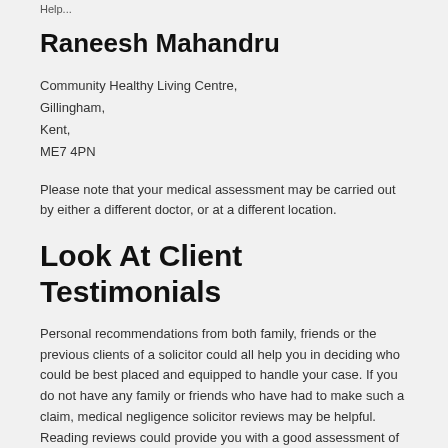Help...
Raneesh Mahandru
Community Healthy Living Centre,
Gillingham,
Kent,
ME7 4PN
Please note that your medical assessment may be carried out by either a different doctor, or at a different location.
Look At Client Testimonials
Personal recommendations from both family, friends or the previous clients of a solicitor could all help you in deciding who could be best placed and equipped to handle your case. If you do not have any family or friends who have had to make such a claim, medical negligence solicitor reviews may be helpful. Reading reviews could provide you with a good assessment of how solicitors have helped people in the past who may have been